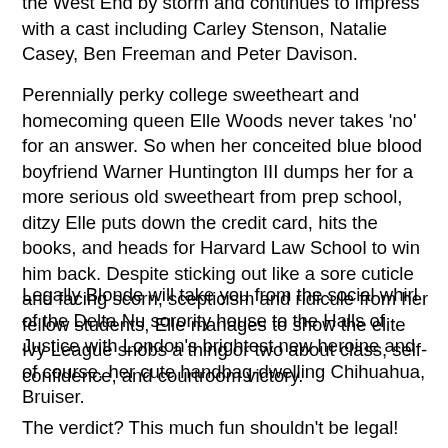the West End by storm and continues to impress with a cast including Carley Stenson, Natalie Casey, Ben Freeman and Peter Davison.
Perennially perky college sweetheart and homecoming queen Elle Woods never takes 'no' for an answer. So when her conceited blue blood boyfriend Warner Huntington III dumps her for a more serious old sweetheart from prep school, ditzy Elle puts down the credit card, hits the books, and heads for Harvard Law School to win him back. Despite sticking out like a sore cuticle and facing scorn, scepticism and ridicule from her fellow students, Elle manages to show the elite Ivy League snobs a thing or two about class, self-confidence, and courtroom victory.
Legally Blonde will take you from the social whirl of the Delta Nu sorority house to the Halls of Justice with London's brightest new heroine and of course, her cute handbag-dwelling Chihuahua, Bruiser.
The verdict? This much fun shouldn't be legal!